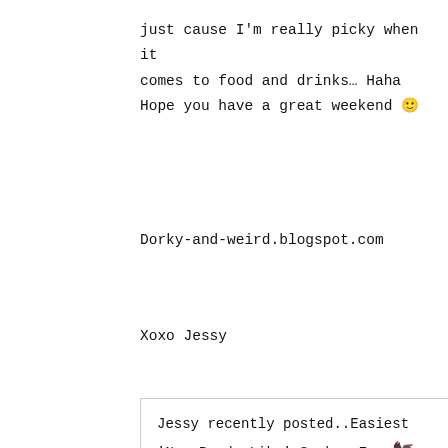just cause I'm really picky when it comes to food and drinks… Haha Hope you have a great weekend 🙂
Dorky-and-weird.blogspot.com
Xoxo Jessy
Jessy recently posted..Easiest 'Non-Panda-Like' Smokey Eye 🦅
REPLY
LAURYN
07/28/2015 AT 6:10 PM